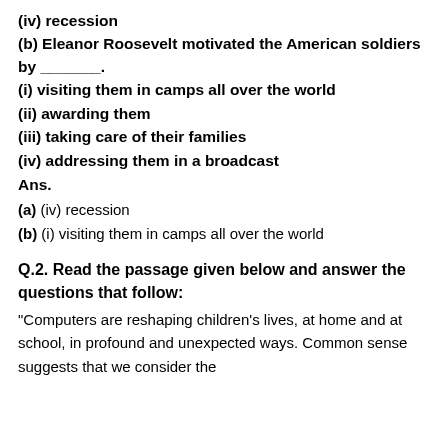(iv) recession
(b) Eleanor Roosevelt motivated the American soldiers by _______.
(i) visiting them in camps all over the world
(ii) awarding them
(iii) taking care of their families
(iv) addressing them in a broadcast
Ans.
(a) (iv) recession
(b) (i) visiting them in camps all over the world
Q.2. Read the passage given below and answer the questions that follow:
"Computers are reshaping children's lives, at home and at school, in profound and unexpected ways. Common sense suggests that we consider the